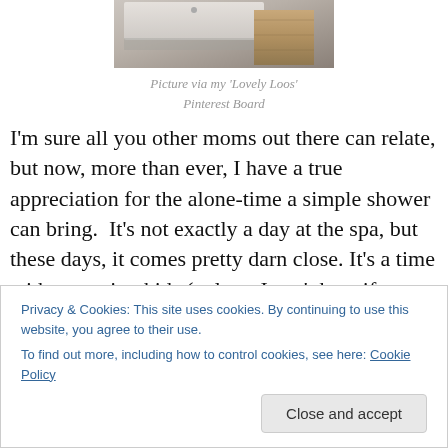[Figure (photo): Photo of a bathroom sink/vanity with wooden cabinet, viewed from above/angle, showing a white sink surface and wood-grain cabinet]
Picture via my ‘Lovely Loos’ Pinterest Board
I’m sure all you other moms out there can relate, but now, more than ever, I have a true appreciation for the alone-time a simple shower can bring.  It’s not exactly a day at the spa, but these days, it comes pretty darn close. It’s a time with no crying kids (at least I can’t hear if they’re
Privacy & Cookies: This site uses cookies. By continuing to use this website, you agree to their use.
To find out more, including how to control cookies, see here: Cookie Policy